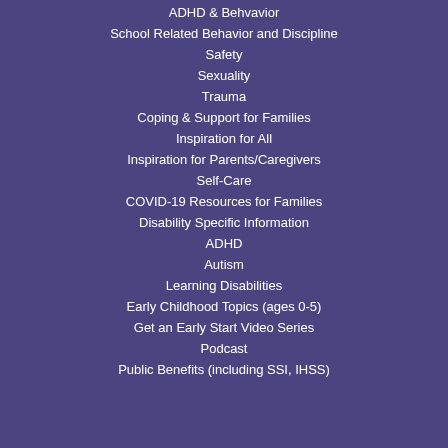ADHD & Behvavior
School Related Behavior and Discipline
Safety
Sexuality
Trauma
Coping & Support for Families
Inspiration for All
Inspiration for Parents/Caregivers
Self-Care
COVID-19 Resources for Families
Disability Specific Information
ADHD
Autism
Learning Disabilities
Early Childhood Topics (ages 0-5)
Get an Early Start Video Series
Podcast
Public Benefits (including SSI, IHSS)